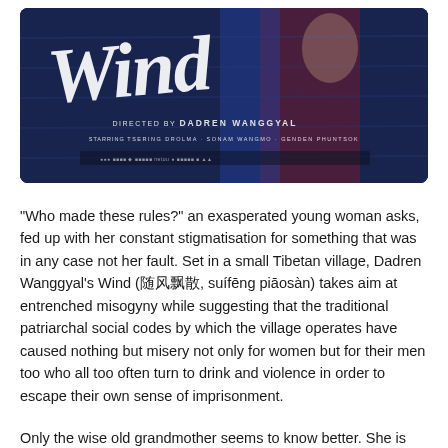[Figure (photo): Movie poster for 'Wind' directed by Dadren Wanggyal, starring Tsering Drolma, Sonam Wangmo, Genden Phuntsok. Dark blue/red textured background with white brush-script title 'Wind' and a figure visible behind it.]
“Who made these rules?” an exasperated young woman asks, fed up with her constant stigmatisation for something that was in any case not her fault. Set in a small Tibetan village, Dadren Wanggyal’s Wind (随风飘散, suífēng piāosàn) takes aim at entrenched misogyny while suggesting that the traditional patriarchal social codes by which the village operates have caused nothing but misery not only for women but for their men too who all too often turn to drink and violence in order to escape their own sense of imprisonment.
Only the wise old grandmother seems to know better. She is the only one to show kindness to Samdan (Sonam Wangmo), a young